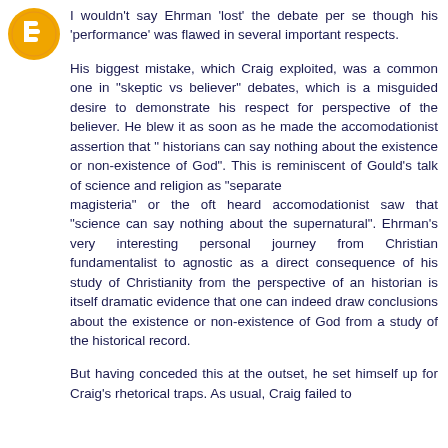[Figure (logo): Blogger orange circle avatar icon with letter B]
I wouldn't say Ehrman 'lost' the debate per se though his 'performance' was flawed in several important respects.

His biggest mistake, which Craig exploited, was a common one in "skeptic vs believer" debates, which is a misguided desire to demonstrate his respect for perspective of the believer. He blew it as soon as he made the accomodationist assertion that " historians can say nothing about the existence or non-existence of God". This is reminiscent of Gould's talk of science and religion as "separate
magisteria" or the oft heard accomodationist saw that "science can say nothing about the supernatural". Ehrman's very interesting personal journey from Christian fundamentalist to agnostic as a direct consequence of his study of Christianity from the perspective of an historian is itself dramatic evidence that one can indeed draw conclusions about the existence or non-existence of God from a study of the historical record.

But having conceded this at the outset, he set himself up for Craig's rhetorical traps. As usual, Craig failed to